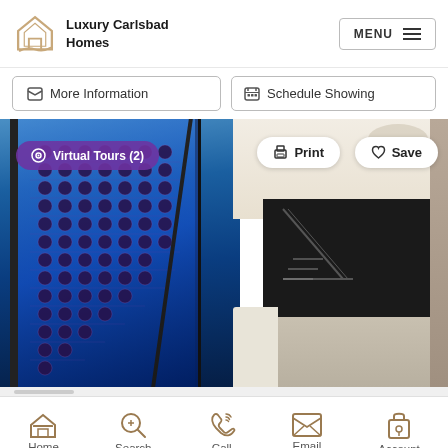Luxury Carlsbad Homes — MENU
More Information
Schedule Showing
[Figure (photo): Luxury home interior showing a glass-enclosed wine cellar with blue LED lighting and wine bottle racks, alongside a modern open living room with white marble floors, staircase, and modern furnishings.]
Virtual Tours (2)
Print
Save
Home | Search | Call | Email | Account